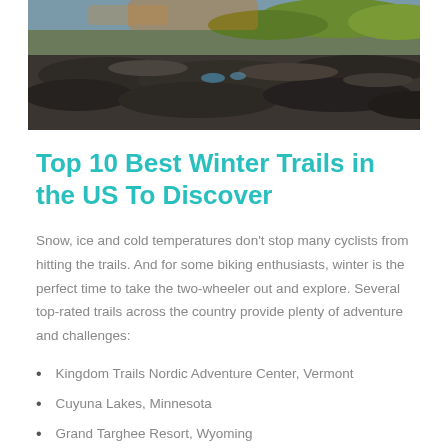[Figure (photo): Rocky coastal landscape with dark stone formations, patches of green moss/grass, and a glimpse of blue water in the background under a partly cloudy sky.]
Top 10 Best Winter Trails in the US To Discover
Snow, ice and cold temperatures don’t stop many cyclists from hitting the trails. And for some biking enthusiasts, winter is the perfect time to take the two-wheeler out and explore. Several top-rated trails across the country provide plenty of adventure and challenges:
Kingdom Trails Nordic Adventure Center, Vermont
Cuyuna Lakes, Minnesota
Grand Targhee Resort, Wyoming
Crested Butte, Colorado